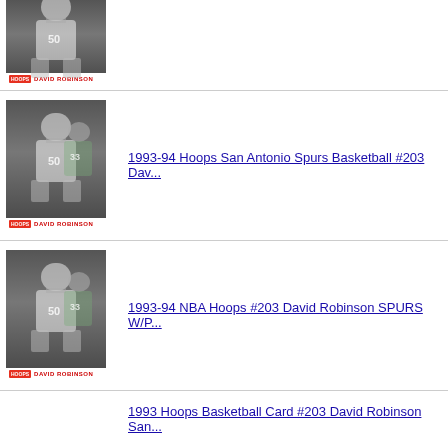[Figure (photo): Basketball card image - 1993-94 Hoops David Robinson #203, top portion visible]
[Figure (photo): Basketball card image - 1993-94 Hoops David Robinson #203, full card visible]
1993-94 Hoops San Antonio Spurs Basketball #203 Dav...
[Figure (photo): Basketball card image - 1993-94 NBA Hoops David Robinson #203]
1993-94 NBA Hoops #203 David Robinson SPURS W/P...
[Figure (photo): Basketball card image - 1993 Hoops David Robinson #203]
1993 Hoops Basketball Card #203 David Robinson San...